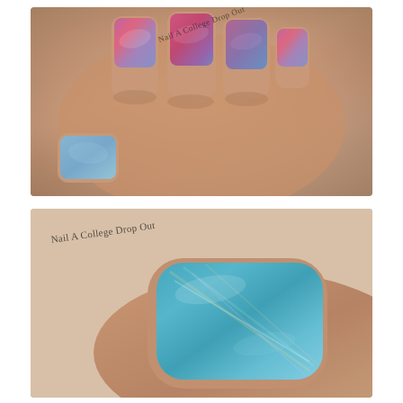[Figure (photo): Close-up photograph of a hand with nails painted in holographic/iridescent nail polish showing swirled pink, purple, blue and teal metallic shimmer colors. Watermark text 'Nail A College Drop Out' visible in upper center area.]
[Figure (photo): Close-up photograph of a single finger/thumb nail painted in holographic teal/blue iridescent nail polish with rainbow shimmer streaks. Watermark text 'Nail A College Drop Out' visible in upper left area.]